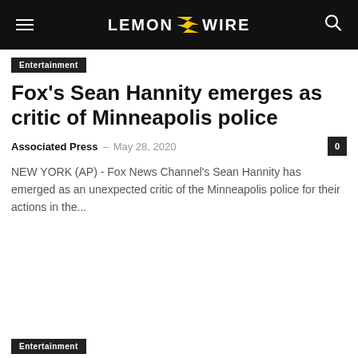LEMON WIRE
Entertainment
Fox's Sean Hannity emerges as critic of Minneapolis police
Associated Press – May 28, 2020
NEW YORK (AP) - Fox News Channel's Sean Hannity has emerged as an unexpected critic of the Minneapolis police for their actions in the...
Entertainment
Reporters Alcindor, Collins, Jiang get under